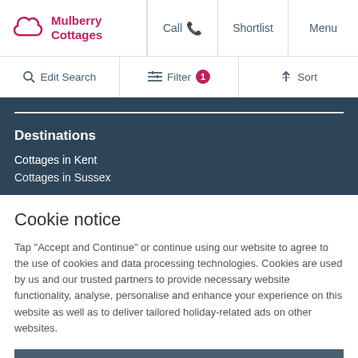Mulberry Cottages | Call | Shortlist | Menu
Edit Search | Filter 1 | Sort
Destinations
Cottages in Kent
Cottages in Sussex
Cookie notice
Tap "Accept and Continue" or continue using our website to agree to the use of cookies and data processing technologies. Cookies are used by us and our trusted partners to provide necessary website functionality, analyse, personalise and enhance your experience on this website as well as to deliver tailored holiday-related ads on other websites.
ACCEPT AND CONTINUE